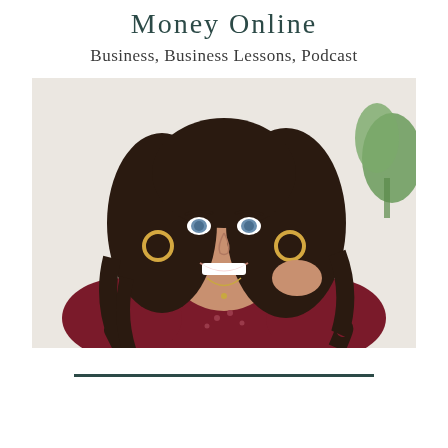Money Online
Business, Business Lessons, Podcast
[Figure (photo): Portrait photo of a smiling woman with long dark wavy hair, wearing gold hoop earrings and a dark red embroidered top, posed against a white brick wall with a green plant visible in the background.]